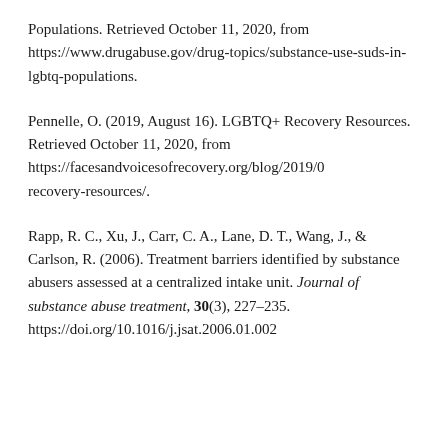Populations. Retrieved October 11, 2020, from https://www.drugabuse.gov/drug-topics/substance-use-suds-in-lgbtq-populations.
Pennelle, O. (2019, August 16). LGBTQ+ Recovery Resources. Retrieved October 11, 2020, from https://facesandvoicesofrecovery.org/blog/2019/08/lgbtq-recovery-resources/.
Rapp, R. C., Xu, J., Carr, C. A., Lane, D. T., Wang, J., & Carlson, R. (2006). Treatment barriers identified by substance abusers assessed at a centralized intake unit. Journal of substance abuse treatment, 30(3), 227–235. https://doi.org/10.1016/j.jsat.2006.01.002